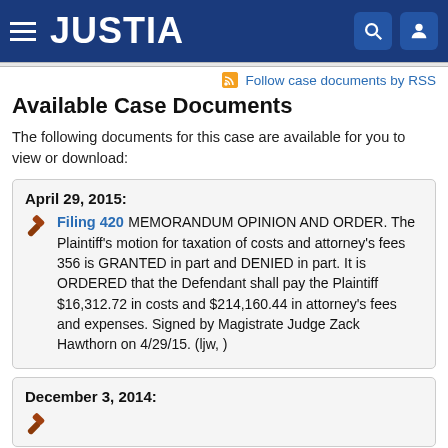JUSTIA
Follow case documents by RSS
Available Case Documents
The following documents for this case are available for you to view or download:
April 29, 2015:
Filing 420  MEMORANDUM OPINION AND ORDER. The Plaintiff's motion for taxation of costs and attorney's fees 356 is GRANTED in part and DENIED in part. It is ORDERED that the Defendant shall pay the Plaintiff $16,312.72 in costs and $214,160.44 in attorney's fees and expenses. Signed by Magistrate Judge Zack Hawthorn on 4/29/15. (ljw, )
December 3, 2014: